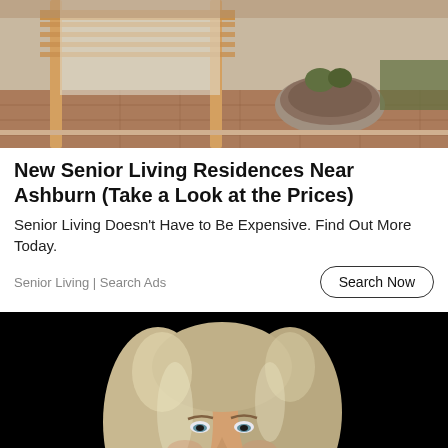[Figure (photo): Outdoor patio area with wooden pergola structure, paver stones, and a stone fire pit with plants, viewed from under a porch roof.]
New Senior Living Residences Near Ashburn (Take a Look at the Prices)
Senior Living Doesn't Have to Be Expensive. Find Out More Today.
Senior Living | Search Ads
Search Now
[Figure (photo): Portrait of a middle-aged woman with shoulder-length blonde/gray hair, smiling, wearing a gray turtleneck sweater, on a black background.]